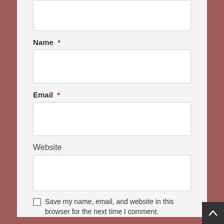(textarea stub — top of page)
Name *
Email *
Website
Save my name, email, and website in this browser for the next time I comment.
Post Comment